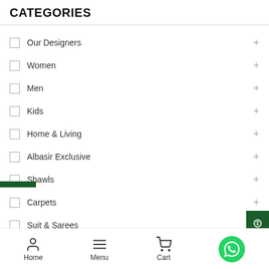CATEGORIES
Our Designers
Women
Men
Kids
Home & Living
Albasir Exclusive
Shawls
Carpets
Suit & Sarees
Fashion Accessories
Furnishings
Garments
Kurta Sets
Jackets
Home  Menu  Cart